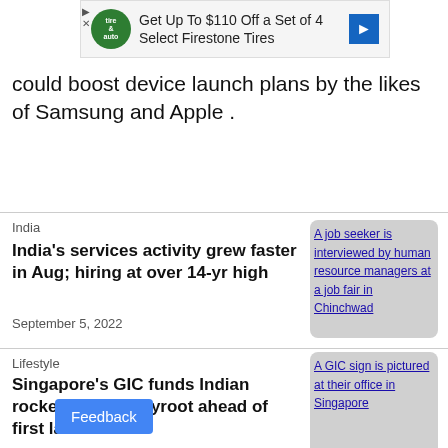[Figure (other): Advertisement banner: Get Up To $110 Off a Set of 4 Select Firestone Tires]
could boost device launch plans by the likes of Samsung and Apple .
India
India's services activity grew faster in Aug; hiring at over 14-yr high
September 5, 2022
[Figure (photo): A job seeker is interviewed by human resource managers at a job fair in Chinchwad]
Lifestyle
Singapore's GIC funds Indian rocket startup Skyroot ahead of first launch
September 2, 2022
[Figure (photo): A GIC sign is pictured at their office in Singapore]
India
India cenbank gives lenders till end-No with new digital rules
[Figure (photo): Reserve Bank of India logo is seen at the gate of its office in New Delhi]